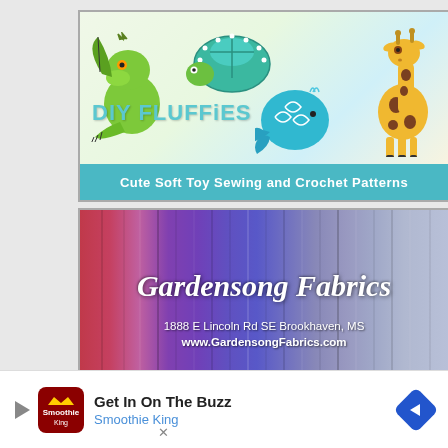[Figure (illustration): DIY Fluffies advertisement banner showing cute plush toy animals (dragon, turtle, whale, giraffe) with text 'DIY Fluffies' and subtitle 'Cute Soft Toy Sewing and Crochet Patterns' on teal footer]
[Figure (illustration): Gardensong Fabrics advertisement showing colorful fabric bolts in red, purple, and blue tones with cursive 'Gardensong Fabrics' title, address '1888 E Lincoln Rd SE Brookhaven, MS' and website 'www.GardensongFabrics.com']
[Figure (illustration): Partially visible third advertisement with teal/aqua background, showing a red number '2' and partial 'the' text]
Get In On The Buzz
Smoothie King